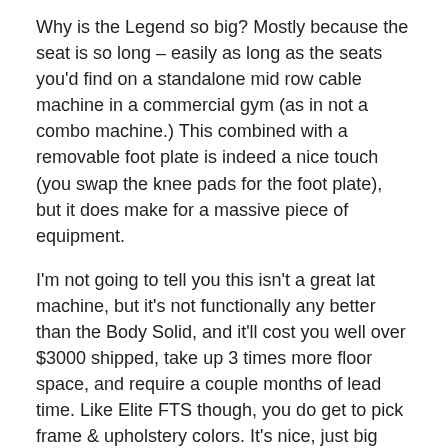Why is the Legend so big? Mostly because the seat is so long – easily as long as the seats you'd find on a standalone mid row cable machine in a commercial gym (as in not a combo machine.) This combined with a removable foot plate is indeed a nice touch (you swap the knee pads for the foot plate), but it does make for a massive piece of equipment.
I'm not going to tell you this isn't a great lat machine, but it's not functionally any better than the Body Solid, and it'll cost you well over $3000 shipped, take up 3 times more floor space, and require a couple months of lead time. Like Elite FTS though, you do get to pick frame & upholstery colors. It's nice, just big and expensive.
True Fitness Force Commercial Lat Pull / Mid Row
I don't personally know anything about this particular company, but I wanted to include this machine because it illustrates what you'd pay for the Body Solid if Body Solid was trying to market the